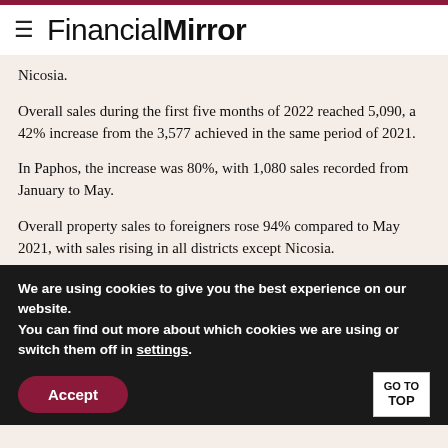Financial Mirror
Nicosia.
Overall sales during the first five months of 2022 reached 5,090, a 42% increase from the 3,577 achieved in the same period of 2021.
In Paphos, the increase was 80%, with 1,080 sales recorded from January to May.
Overall property sales to foreigners rose 94% compared to May 2021, with sales rising in all districts except Nicosia.
We are using cookies to give you the best experience on our website.
You can find out more about which cookies we are using or switch them off in settings.